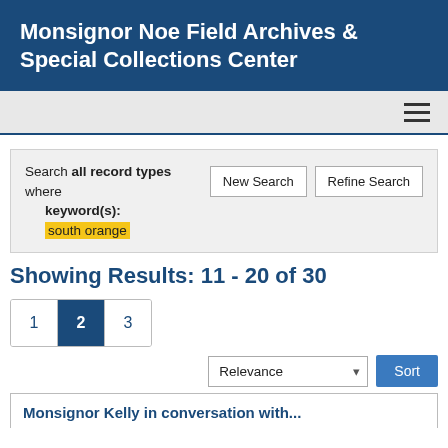Monsignor Noe Field Archives & Special Collections Center
Search all record types where keyword(s): south orange
Showing Results: 11 - 20 of 30
1 2 3
Relevance Sort
Monsignor Kelly in conversation with...